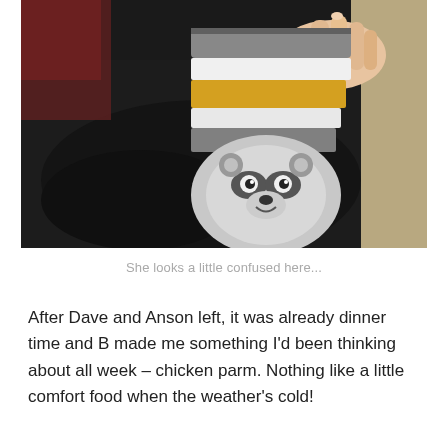[Figure (photo): A photo of someone holding a baby in a striped onesie with a raccoon face graphic at the bottom, against a dark fleece blanket and beige background. The onesie has grey, white, and yellow/gold horizontal stripes.]
She looks a little confused here...
After Dave and Anson left, it was already dinner time and B made me something I'd been thinking about all week – chicken parm. Nothing like a little comfort food when the weather's cold!